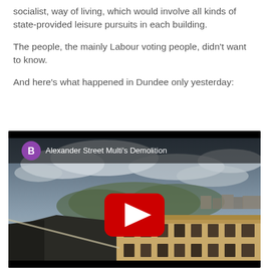socialist, way of living, which would involve all kinds of state-provided leisure pursuits in each building.
The people, the mainly Labour voting people, didn't want to know.
And here's what happened in Dundee only yesterday:
[Figure (screenshot): YouTube video thumbnail showing a rooftop cityscape scene in Dundee with overcast sky. The video is titled 'Alexander Street Multi's Demolition' with a purple channel icon showing the letter B, and a red YouTube play button in the center.]